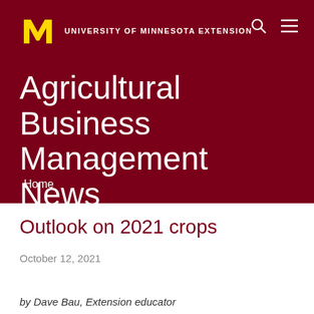University of Minnesota Extension
Agricultural Business Management News
Home
Outlook on 2021 crops
October 12, 2021
by Dave Bau, Extension educator